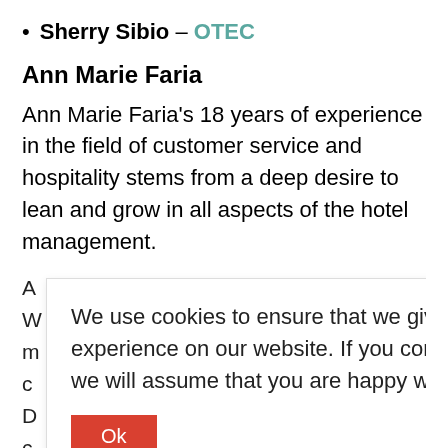Sherry Sibio – OTEC
Ann Marie Faria
Ann Marie Faria's 18 years of experience in the field of customer service and hospitality stems from a deep desire to lean and grow in all aspects of the hotel management.
We use cookies to ensure that we give you the best experience on our website. If you continue to use this site we will assume that you are happy with it.
rted while ort properties each with its nities in Front ales, At each reasing knowledge of ces.